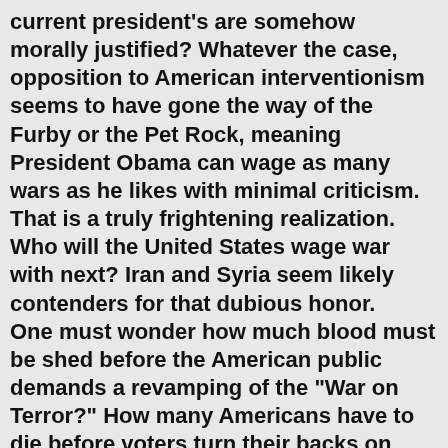current president's are somehow morally justified? Whatever the case, opposition to American interventionism seems to have gone the way of the Furby or the Pet Rock, meaning President Obama can wage as many wars as he likes with minimal criticism. That is a truly frightening realization. Who will the United States wage war with next? Iran and Syria seem likely contenders for that dubious honor. One must wonder how much blood must be shed before the American public demands a revamping of the "War on Terror?" How many Americans have to die before voters turn their backs on both the neo-conservative Republican and Progressive Democratic war machines? Given the neutralization of anti-war sentiment in the United States, coupled with the lack of viable Republican presidential contenders, the probability that the United States will remain engulfed in war until at least 2016 is becoming increasingly likely.